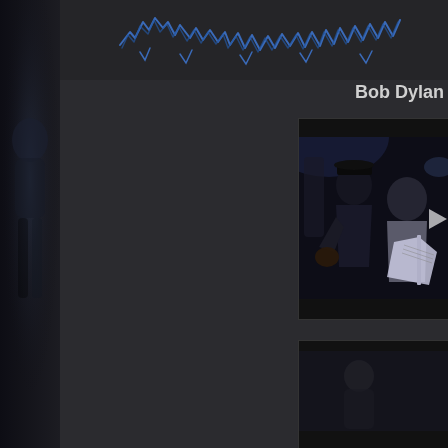[Figure (illustration): Dark website page for Bob Dylan fan site. Left side has a dark panel with a ghostly figure. Top has stylized lightning bolt / handwriting logo in blue. Right side shows 'Bob Dylan' text heading and two video thumbnail panels with musicians playing guitars.]
Bob Dylan
[Figure (photo): Concert video thumbnail showing two musicians on stage, one wearing a black hat and dark jacket, another in a grey suit playing guitar. Dark stage lighting.]
[Figure (photo): Second video thumbnail, partially visible at bottom, dark background.]